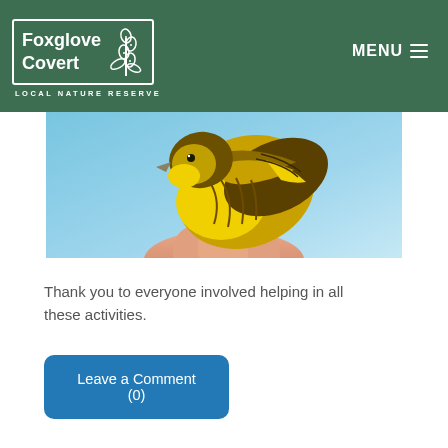[Figure (logo): Foxglove Covert Local Nature Reserve logo: white text and plant illustration in a white border box on dark green background, with 'LOCAL NATURE RESERVE' subtitle in white caps below]
[Figure (photo): Close-up photo of a yellow and brown streaked bird (likely a siskin or yellowhammer) being held in a person's hand against a blue sky background]
Thank you to everyone involved helping in all these activities.
Leave a Comment (0)